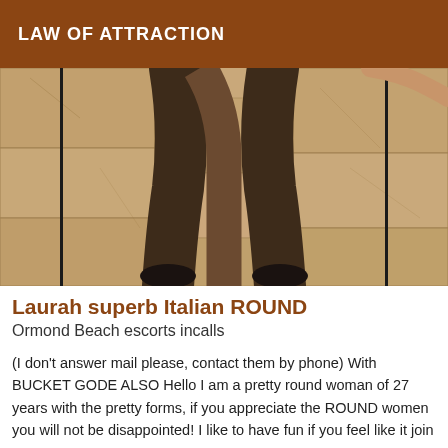LAW OF ATTRACTION
[Figure (photo): Photo of a person's legs in dark stockings and black heeled shoes, standing against a stone/rock wall background.]
Laurah superb Italian ROUND
Ormond Beach escorts incalls
(I don't answer mail please, contact them by phone) With BUCKET GODE ALSO Hello I am a pretty round woman of 27 years with the pretty forms, if you appreciate the ROUND women you will not be disappointed! I like to have fun if you feel like it join me for some good moments of pure delight.